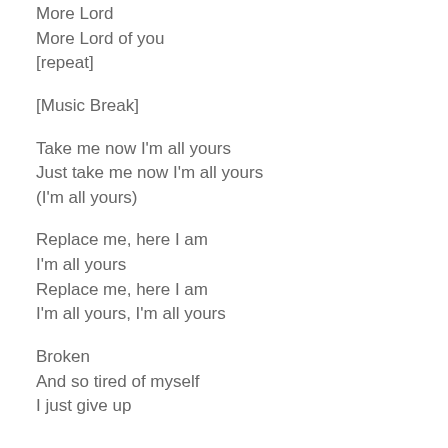More Lord
More Lord of you
[repeat]
[Music Break]
Take me now I'm all yours
Just take me now I'm all yours
(I'm all yours)
Replace me, here I am
I'm all yours
Replace me, here I am
I'm all yours, I'm all yours
Broken
And so tired of myself
I just give up